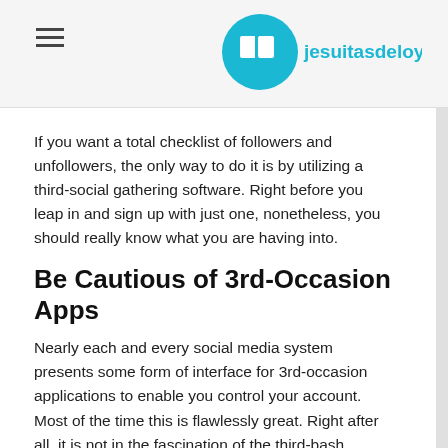jesuitasdeloyola
If you want a total checklist of followers and unfollowers, the only way to do it is by utilizing a third-social gathering software. Right before you leap in and sign up with just one, nonetheless, you should really know what you are having into.
Be Cautious of 3rd-Occasion Apps
Nearly each and every social media system presents some form of interface for 3rd-occasion applications to enable you control your account. Most of the time this is flawlessly great. Right after all, it is not in the fascination of the third-bash service to hurt their buyers.
However, giving a 3rd occasion regulate in excess of your